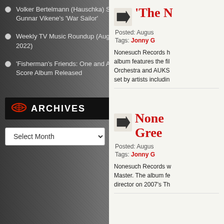Volker Bertelmann (Hauschka) Scoring Gunnar Vikene's 'War Sailor'
Weekly TV Music Roundup (August 21, 2022)
'Fisherman's Friends: One and All' Score Album Released
ARCHIVES
Select Month
'The [...]
Posted: Augus[t...]
Tags: Jonny G[...]
Nonesuch Records h[as announced...] album features the fil[m...] Orchestra and AUKS[...] set by artists includin[g...]
None[such...] Gree[nwich...]
Posted: Augus[t...]
Tags: Jonny G[...]
Nonesuch Records w[...] Master. The album fe[atures...] director on 2007's Th[e...]